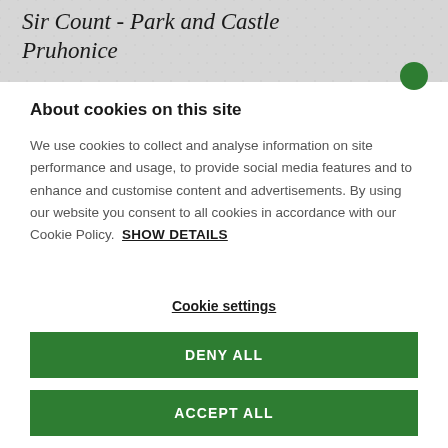Sir Count - Park and Castle Pruhonice
About cookies on this site
We use cookies to collect and analyse information on site performance and usage, to provide social media features and to enhance and customise content and advertisements. By using our website you consent to all cookies in accordance with our Cookie Policy.  SHOW DETAILS
Cookie settings
DENY ALL
ACCEPT ALL